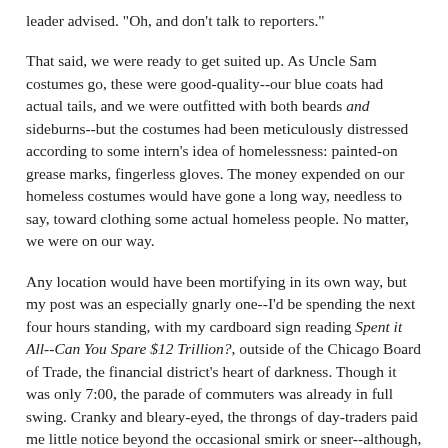leader advised. "Oh, and don't talk to reporters."
That said, we were ready to get suited up. As Uncle Sam costumes go, these were good-quality--our blue coats had actual tails, and we were outfitted with both beards and sideburns--but the costumes had been meticulously distressed according to some intern's idea of homelessness: painted-on grease marks, fingerless gloves. The money expended on our homeless costumes would have gone a long way, needless to say, toward clothing some actual homeless people. No matter, we were on our way.
Any location would have been mortifying in its own way, but my post was an especially gnarly one--I'd be spending the next four hours standing, with my cardboard sign reading Spent it All--Can You Spare $12 Trillion?, outside of the Chicago Board of Trade, the financial district's heart of darkness. Though it was only 7:00, the parade of commuters was already in full swing. Cranky and bleary-eyed, the throngs of day-traders paid me little notice beyond the occasional smirk or sneer--although, a few clueless passers-by offered me their spare change, and several people told